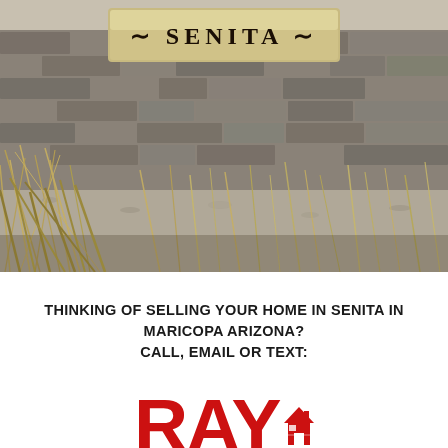[Figure (photo): Entrance sign for 'Senita' community in Maricopa, Arizona. Stone wall with a tan/gold sign board displaying '~ SENITA ~' in serif lettering. Desert grasses and gravel landscaping in the foreground.]
THINKING OF SELLING YOUR HOME IN SENITA IN MARICOPA ARIZONA?
CALL, EMAIL OR TEXT:
[Figure (logo): RAY logo in large bold red letters with a small house icon replacing or attached to the last letter]